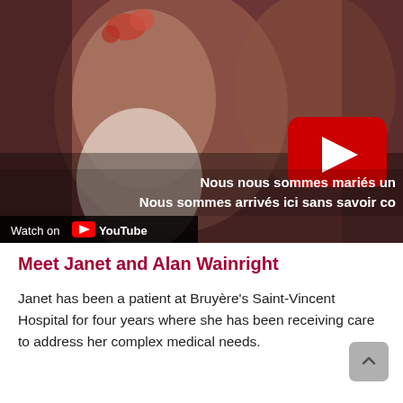[Figure (screenshot): YouTube video thumbnail showing a couple at what appears to be a wedding or celebration. A woman with flowers in her hair is laughing, and a man with a beard is beside her. A large red YouTube play button is visible in the upper right. French subtitles read 'Nous nous sommes mariés un' and 'Nous sommes arrivés ici sans savoir co'. A 'Watch on YouTube' bar is at the bottom left.]
Meet Janet and Alan Wainright
Janet has been a patient at Bruyère's Saint-Vincent Hospital for four years where she has been receiving care to address her complex medical needs.